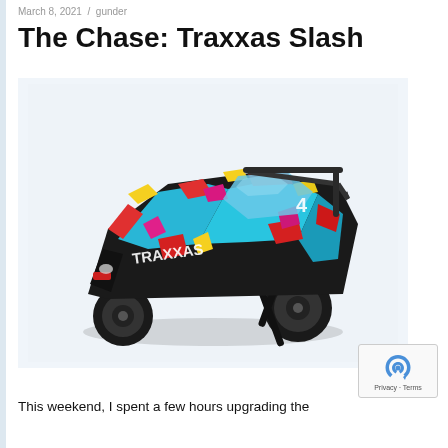March 8, 2021  /  gunder
The Chase: Traxxas Slash
[Figure (photo): Traxxas Slash RC truck with colorful neon splatter livery (blue, red, yellow, pink) on white background, shown at three-quarter front angle. Car has black cage roof rack and black wheels with knobby tires.]
This weekend, I spent a few hours upgrading the